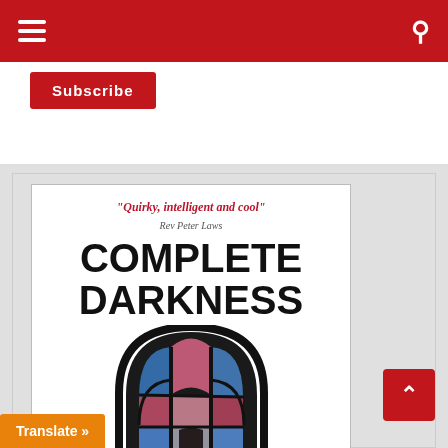≡ [navigation menu] 🔍
Subscribe
[Figure (illustration): Book cover for 'Complete Darkness' featuring the text 'Quirky, intelligent and cool' - Rev Peter Laws, large bold title COMPLETE DARKNESS, and a gothic stained glass window with blue, red and pink colored panes in an arched gothic frame]
Translate »